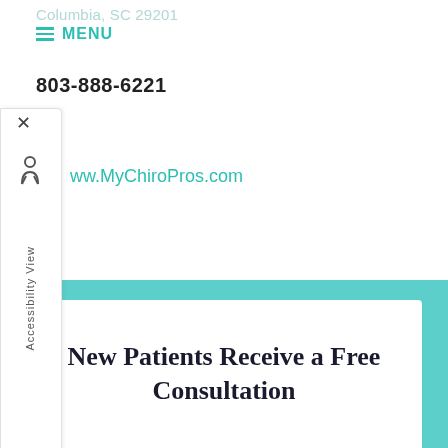Columbia, SC 29201
MENU
803-888-6221
www.MyChiroPros.com
mychiropros@gmail.com
MyChiroPros
New Patients Receive a Free Consultation